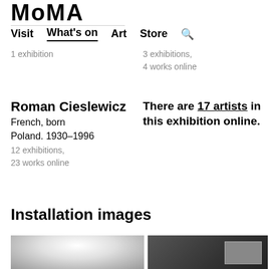MoMA
Visit  What's on  Art  Store
1 exhibition
3 exhibitions,
4 works online
Roman Cieslewicz
French, born Poland. 1930–1996
12 exhibitions,
23 works online
There are 17 artists in this exhibition online.
Installation images
[Figure (photo): Installation photo showing ceiling with recessed lights, light-colored interior]
[Figure (photo): Installation photo showing dark room with framed artwork on wall]